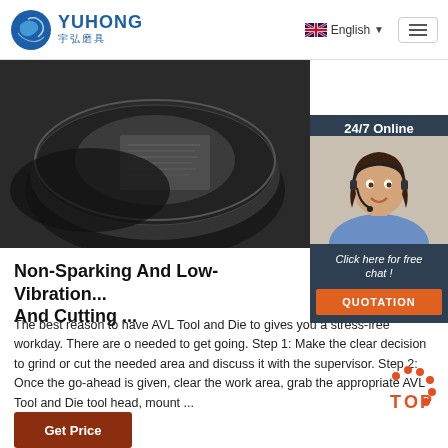YUHONG 宇弘磨具 | English
[Figure (photo): Close-up of dark abrasive cutting/grinding discs stacked on a surface]
[Figure (photo): 24/7 Online customer service agent — woman with headset smiling, with 'Click here for free chat!' and QUOTATION button]
Non-Sparking And Low-Vibration... And Cutting ...
The best reason to have AVL Tool and Die to gives you a stress-free workday. There are o needed to get going. Step 1: Make the clear decision to grind or cut the needed area and discuss it with the supervisor. Step 2: Once the go-ahead is given, clear the work area, grab the appropriate AVL Tool and Die tool head, mount ...
[Figure (logo): TOP badge with orange dots]
Get Price